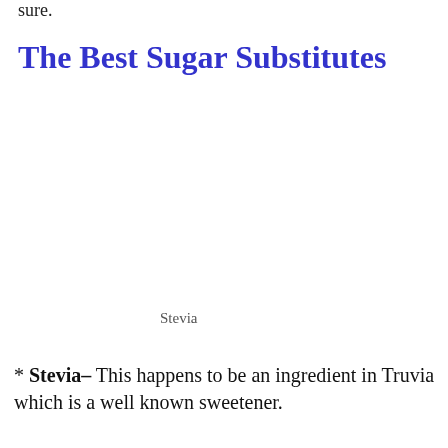sure.
The Best Sugar Substitutes
Stevia
* Stevia- This happens to be an ingredient in Truvia which is a well known sweetener.